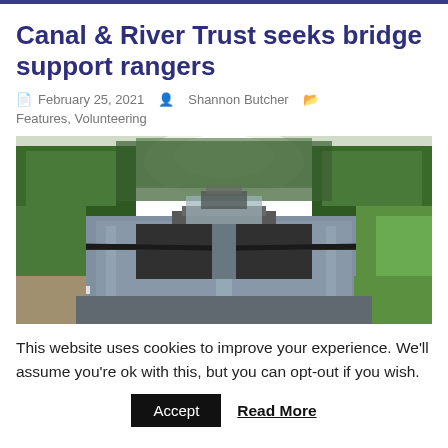Canal & River Trust seeks bridge support rangers
February 25, 2021   Shannon Butcher   Features, Volunteering
[Figure (photo): Canal lock gates viewed from behind, with a waterway stretching into the distance, flanked by trees and green banks.]
This website uses cookies to improve your experience. We'll assume you're ok with this, but you can opt-out if you wish.
Accept   Read More